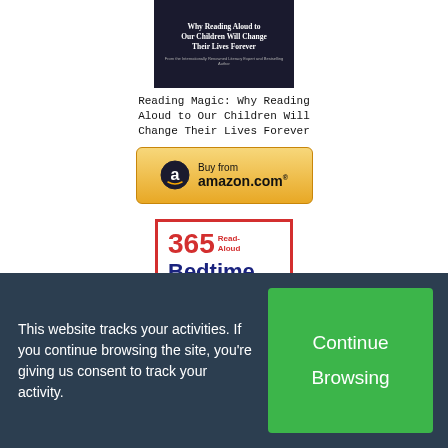[Figure (illustration): Book cover for 'Reading Magic: Why Reading Aloud to Our Children Will Change Their Lives Forever' — dark navy background with white title text and small author byline]
Reading Magic: Why Reading Aloud to Our Children Will Change Their Lives Forever
[Figure (illustration): Amazon.com 'Buy from amazon.com' button with yellow/gold gradient background and Amazon logo]
[Figure (illustration): Book cover for '365 Read-Aloud Bedtime Bible Stories' — red border, colorful cover with large text and illustrated figures including a bearded man with a rainbow]
This website tracks your activities. If you continue browsing the site, you're giving us consent to track your activity.
Continue Browsing